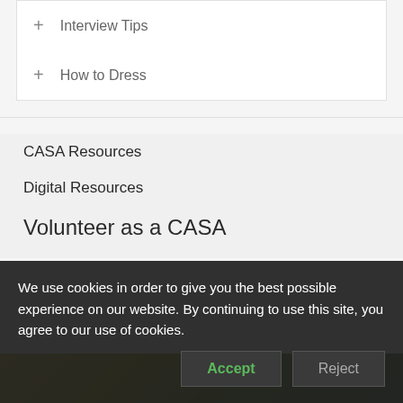+ Interview Tips
+ How to Dress
CASA Resources
Digital Resources
Volunteer as a CASA
[Figure (photo): Partial view of an outdoor scene with green and gold tones, partially visible at bottom of page]
We use cookies in order to give you the best possible experience on our website. By continuing to use this site, you agree to our use of cookies.
Accept
Reject